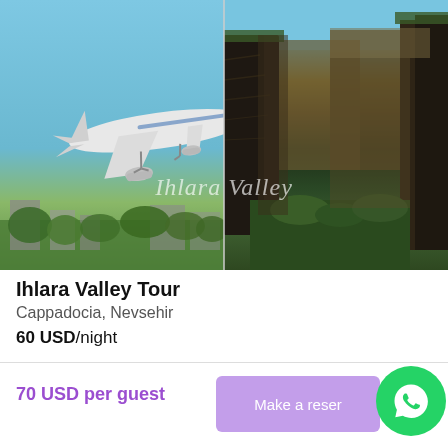[Figure (photo): Split image: left side shows a white airplane (EgyptAir livery) in flight against a blue sky with trees and buildings below; right side shows Ihlara Valley with dramatic dark basalt cliffs and lush green vegetation. Watermark text 'Ihlara Valley' in italic cursive overlays the center.]
Ihlara Valley Tour
Cappadocia, Nevsehir
60 USD/night
70 USD per guest
Make a reser